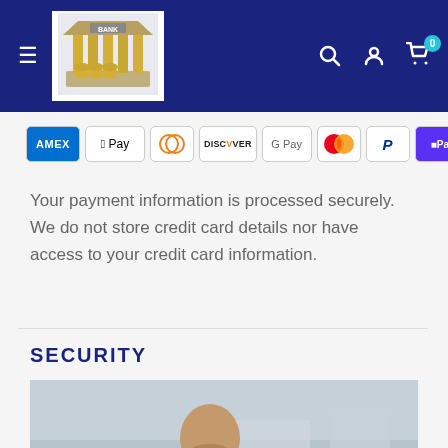Bank logo navigation header with hamburger menu, search, account, and cart icons
[Figure (logo): Bank building logo with gold columns and barrels]
Your payment information is processed securely. We do not store credit card details nor have access to your credit card information.
SECURITY
[Figure (photo): Man in grey blazer looking at smartphone, outdoor background]